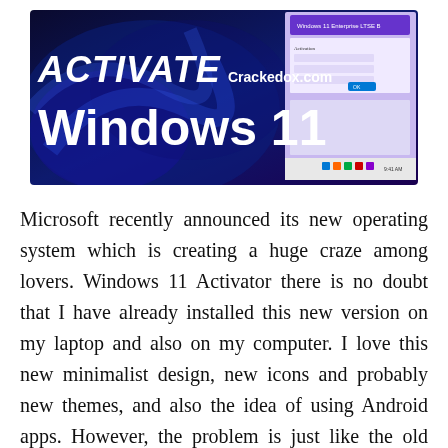[Figure (screenshot): Banner image showing 'ACTIVATE Windows 11' text in large bold white letters on a dark blue/purple background with Windows 11 wallpaper. 'Crackedox.com' watermark visible in white text. A Windows 11 desktop screenshot is visible on the right side with a dialog box. The taskbar is visible at the bottom.]
Microsoft recently announced its new operating system which is creating a huge craze among lovers. Windows 11 Activator there is no doubt that I have already installed this new version on my laptop and also on my computer. I love this new minimalist design, new icons and probably new themes, and also the idea of using Android apps. However, the problem is just like the old versions, it's a bit difficult to activate this version, but don't